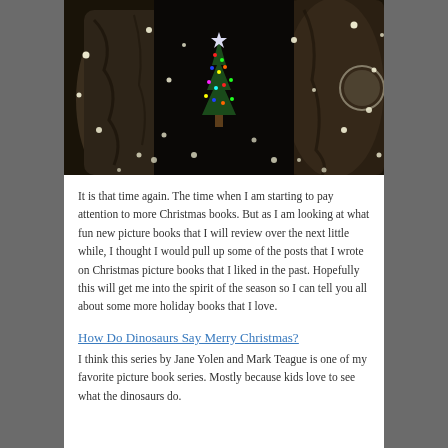[Figure (photo): Dark nighttime photo of tree trunks with string lights and a small colorful Christmas tree with a star on top visible in the background.]
It is that time again. The time when I am starting to pay attention to more Christmas books. But as I am looking at what fun new picture books that I will review over the next little while, I thought I would pull up some of the posts that I wrote on Christmas picture books that I liked in the past. Hopefully this will get me into the spirit of the season so I can tell you all about some more holiday books that I love.
How Do Dinosaurs Say Merry Christmas?
I think this series by Jane Yolen and Mark Teague is one of my favorite picture book series. Mostly because kids love to see what the dinosaurs do.